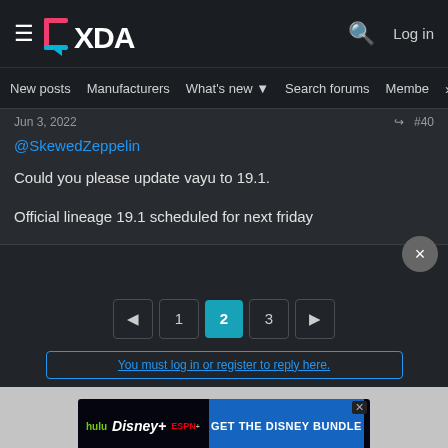XDA Forums — navigation header with logo, search, and login
New posts  Manufacturers  What's new  Search forums  Members  >
Jun 3, 2022  #40
@SkewedZeppelin
Could you please update vayu to 19.1.

Official lineage 19.1 scheduled for next friday
Pagination: < 1 2 3 >
You must log in or register to reply here.
Share
[Figure (infographic): Disney Bundle advertisement banner showing Hulu, Disney+, ESPN+ logos with 'GET THE DISNEY BUNDLE' call to action button and fine print text: Incl. Hulu (ad-supported) or Hulu (No Ads). Access content from each service separately. ©2021 Disney and its related entities]